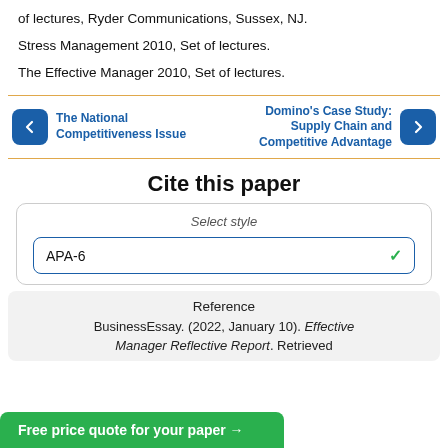of lectures, Ryder Communications, Sussex, NJ.
Stress Management 2010, Set of lectures.
The Effective Manager 2010, Set of lectures.
The National Competitiveness Issue
Domino's Case Study: Supply Chain and Competitive Advantage
Cite this paper
Select style
APA-6
Reference
BusinessEssay. (2022, January 10). Effective Manager Reflective Report. Retrieved
Free price quote for your paper →